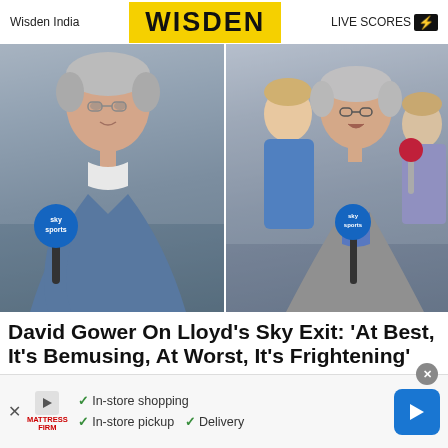Wisden India  WISDEN  LIVE SCORES
[Figure (photo): Two side-by-side photos: left shows David Gower holding a Sky Sports microphone wearing a blue jacket; right shows David Lloyd holding a Sky Sports microphone with other broadcasters in background]
David Gower On Lloyd's Sky Exit: 'At Best, It's Bemusing, At Worst, It's Frightening'
David Gower has sympathized with David Lloyd after the
[Figure (infographic): Advertisement for Mattress Firm showing: In-store shopping, In-store pickup, Delivery with checkmarks and navigation arrow]